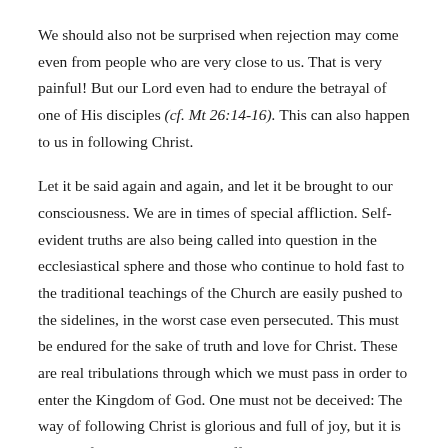We should also not be surprised when rejection may come even from people who are very close to us. That is very painful! But our Lord even had to endure the betrayal of one of His disciples (cf. Mt 26:14-16). This can also happen to us in following Christ.
Let it be said again and again, and let it be brought to our consciousness. We are in times of special affliction. Self-evident truths are also being called into question in the ecclesiastical sphere and those who continue to hold fast to the traditional teachings of the Church are easily pushed to the sidelines, in the worst case even persecuted. This must be endured for the sake of truth and love for Christ. These are real tribulations through which we must pass in order to enter the Kingdom of God. One must not be deceived: The way of following Christ is glorious and full of joy, but it is not comfortable and without suffering.
God uses the tribulations in our own soul and in time to the...